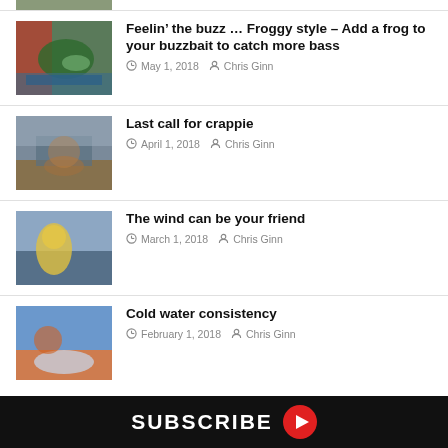[Figure (photo): Partial fishing photo at top (cropped)]
Feelin’ the buzz … Froggy style – Add a frog to your buzzbait to catch more bass
May 1, 2018  Chris Ginn
[Figure (photo): Photo of fisherman on boat holding up a fish]
Last call for crappie
April 1, 2018  Chris Ginn
[Figure (photo): Photo of person in yellow jacket on a boat on the water]
The wind can be your friend
March 1, 2018  Chris Ginn
[Figure (photo): Photo of person holding a large fish]
Cold water consistency
February 1, 2018  Chris Ginn
SUBSCRIBE